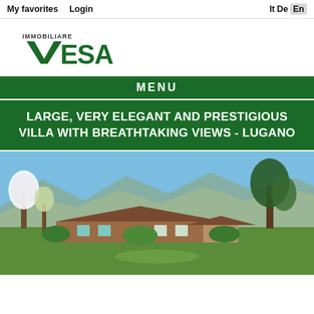My favorites   Login   It  De  En
[Figure (logo): Immobiliare VESA logo with green V checkmark and bold green VESA text]
MENU
LARGE, VERY ELEGANT AND PRESTIGIOUS VILLA WITH BREATHTAKING VIEWS - LUGANO
[Figure (photo): Exterior photo of a large elegant villa in Lugano with garden, spring-blooming trees, and mountain backdrop under blue sky]